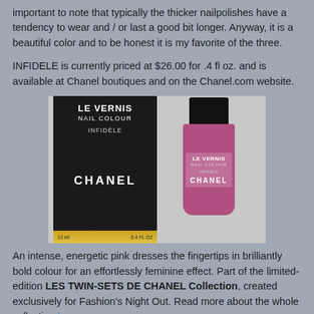important to note that typically the thicker nailpolishes have a tendency to wear and / or last a good bit longer. Anyway, it is a beautiful color and to be honest it is my favorite of the three.
INFIDELE is currently priced at $26.00 for .4 fl oz. and is available at Chanel boutiques and on the Chanel.com website.
[Figure (photo): Chanel Le Vernis Nail Colour in INFIDELE — black product box on the left and pink nail polish bottle on the right, against a light grey background.]
An intense, energetic pink dresses the fingertips in brilliantly bold colour for an effortlessly feminine effect. Part of the limited-edition LES TWIN-SETS DE CHANEL Collection, created exclusively for Fashion's Night Out. Read more about the whole collection here.